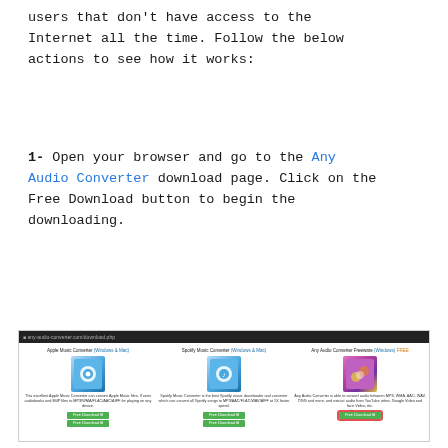users that don't have access to the Internet all the time. Follow the below actions to see how it works:
1- Open your browser and go to the Any Audio Converter download page. Click on the Free Download button to begin the downloading.
[Figure (screenshot): Screenshot of the Any Audio Converter website showing download options: Apple Music Converter, Spotify Music Converter, and Any Audio Converter Freeware, each with Free Download buttons. The Any Audio Converter Freeware Free Download button is highlighted with a red border.]